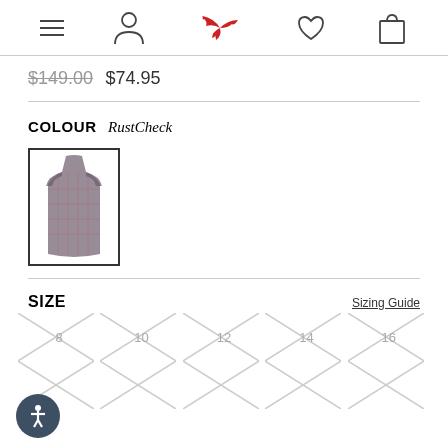Navigation bar with hamburger menu, person icon, bird logo, heart icon, bag icon
$149.00 $74.95
COLOUR RustCheck
[Figure (photo): Rust check plaid long dress/coat product swatch image with dark border selection indicator]
SIZE
Sizing Guide
Size options: 8, 10, 12, 14, 16 (shown crossed out/unavailable with X patterns)